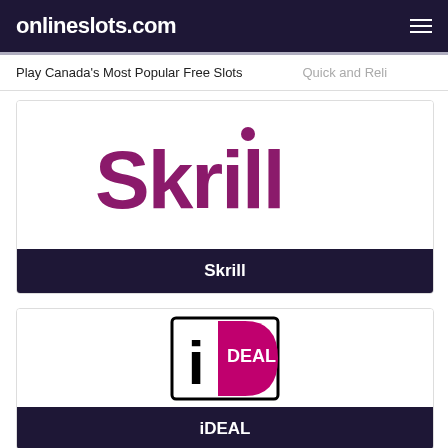onlineslots.com
Play Canada's Most Popular Free Slots   Quick and Reli…
[Figure (logo): Skrill logo — bold magenta/purple text reading 'Skrill' with a dot above the i]
Skrill
[Figure (logo): iDEAL logo — square icon with stylized 'i' and 'DEAL' in pink/magenta on white with black border]
iDEAL